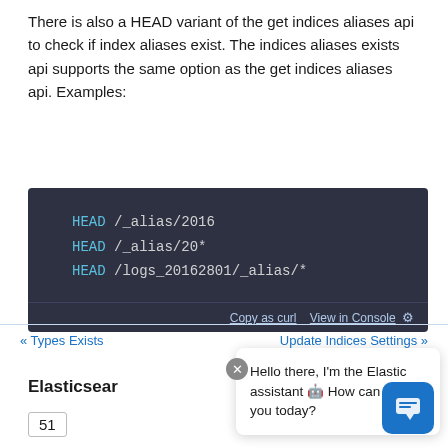There is also a HEAD variant of the get indices aliases api to check if index aliases exist. The indices aliases exists api supports the same option as the get indices aliases api. Examples:
[Figure (screenshot): Dark-themed code block showing three HEAD API call examples: HEAD /_alias/2016, HEAD /_alias/20*, HEAD /logs_20162801/_alias/* with Copy as curl and View in Console links at bottom.]
« Types Exists   Update Indices Settings »
Hello there, I'm the Elastic assistant 🤖 How can I help you today?
Elasticsearch
51